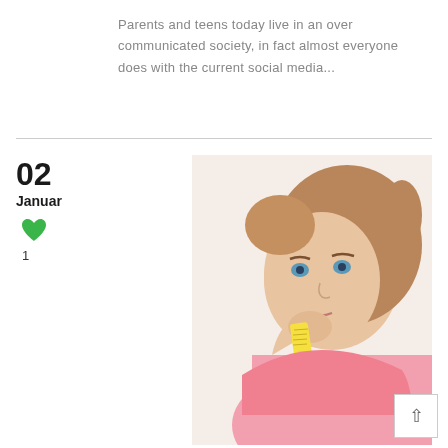Parents and teens today live in an over communicated society, in fact almost everyone does with the current social media...
[Figure (photo): A teenage girl with long brown hair, sitting with her chin resting on her hand, holding a yellow measuring tape, wearing a pink t-shirt, looking pensive or bored against a white background.]
02
Januar
1